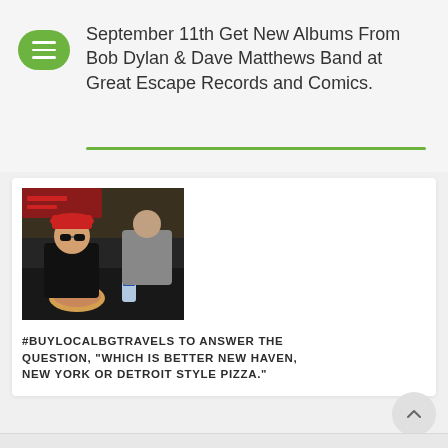September 11th Get New Albums From Bob Dylan & Dave Matthews Band at Great Escape Records and Comics.
[Figure (photo): Person with red hat and sunglasses sitting at a restaurant table with food and a water bottle, another person in background.]
#BUYLOCALBGTRAVELS TO ANSWER THE QUESTION, "WHICH IS BETTER NEW HAVEN, NEW YORK OR DETROIT STYLE PIZZA."
July 16, 2018   32583 views